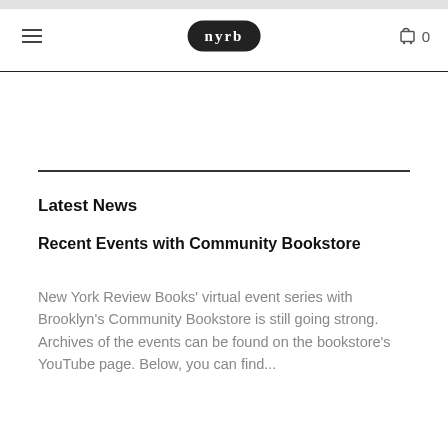nyrb
Latest News
Recent Events with Community Bookstore
New York Review Books' virtual event series with Brooklyn's Community Bookstore is still going strong. Archives of the events can be found on the bookstore's YouTube page. Below, you can find...
Quick Links
Search
About Us
Contact Us
FAQ